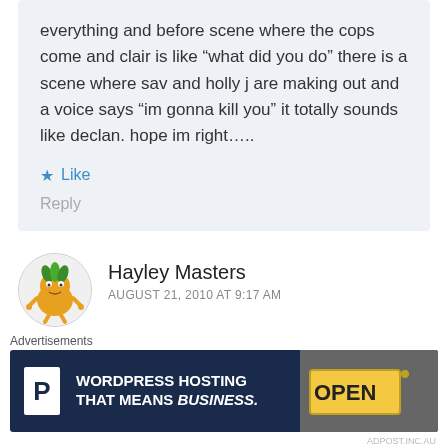everything and before scene where the cops come and clair is like “what did you do” there is a scene where sav and holly j are making out and a voice says “im gonna kill you” it totally sounds like declan. hope im right…..
★ Like
Reply
Hayley Masters
AUGUST 21, 2010 AT 9:17 AM
[Figure (illustration): Pixel art avatar of a cartoon orange blob character with green hair/leaves on top, small eyes, and stick arms and legs]
Advertisements
[Figure (infographic): WordPress hosting advertisement banner with dark navy background, white P logo box, text 'WORDPRESS HOSTING THAT MEANS BUSINESS.' and an OPEN sign image on the right]